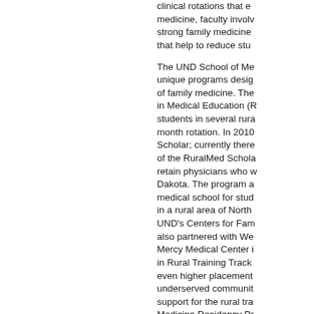clinical rotations that e... medicine, faculty involv... strong family medicine... that help to reduce stu...
The UND School of Me... unique programs desig... of family medicine. The... in Medical Education (R... students in several rura... month rotation. In 2010... Scholar; currently there... of the RuralMed Schola... retain physicians who w... Dakota. The program a... medical school for stud... in a rural area of North... UND's Centers for Fam... also partnered with We... Mercy Medical Center i... in Rural Training Track... even higher placement... underserved communit... support for the rural tra... Medicine Residency Pr...
According to the stud...